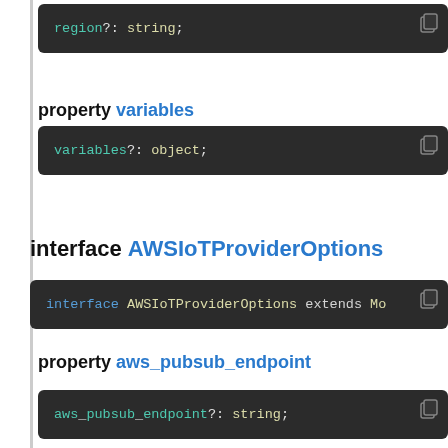[Figure (screenshot): Code block showing: region?: string;]
property variables
[Figure (screenshot): Code block showing: variables?: object;]
interface AWSIoTProviderOptions
[Figure (screenshot): Code block showing: interface AWSIoTProviderOptions extends Mo]
property aws_pubsub_endpoint
[Figure (screenshot): Code block showing: aws pubsub endpoint?: string;]